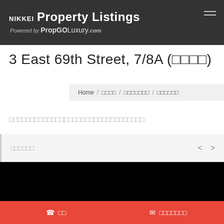NIKKEI Property Listings Powered by PropGOLuxury.com
3 East 69th Street, 7/8A (□□□□)
Home / □□□□ / □□□□□□□ / □□□□□□
□□□□□□□□□□□□□□□□□□□□□□□□□□□□□□□□
□□□□□□
[Figure (photo): Black property photo area]
☎ □□
✉ □□□□□□□